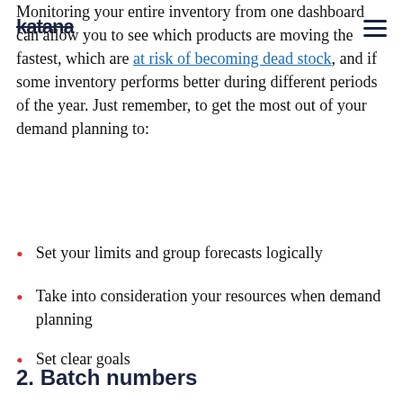katana
Monitoring your entire inventory from one dashboard can allow you to see which products are moving the fastest, which are at risk of becoming dead stock, and if some inventory performs better during different periods of the year. Just remember, to get the most out of your demand planning to:
Set your limits and group forecasts logically
Take into consideration your resources when demand planning
Set clear goals
2. Batch numbers